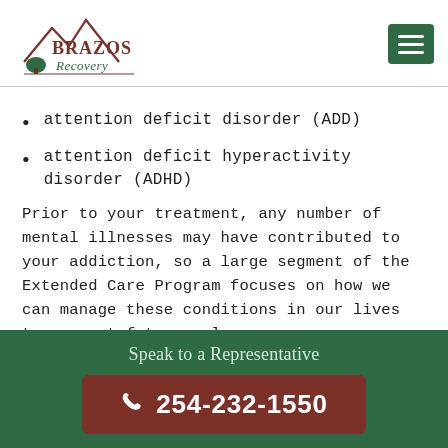[Figure (logo): Brazos Recovery logo with mountain silhouette and tree]
attention deficit disorder (ADD)
attention deficit hyperactivity disorder (ADHD)
Prior to your treatment, any number of mental illnesses may have contributed to your addiction, so a large segment of the Extended Care Program focuses on how we can manage these conditions in our lives to prevent future relapses.
In our... (partial text cut off)
Speak to a Representative
254-232-1550